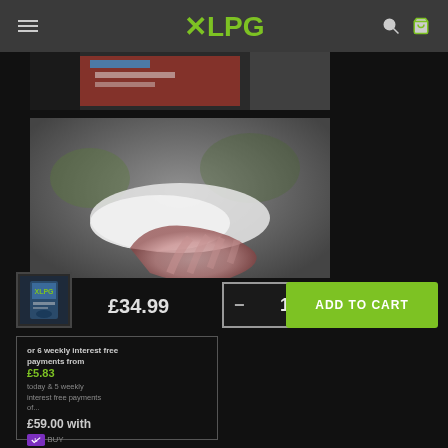XLPG navigation header with menu, logo, search and cart icons
[Figure (photo): Partial product image visible at top, cropped at top]
[Figure (photo): Close-up photo of a hand holding a white powder/supplement product against a blurred background]
£34.99
[Figure (photo): Small product thumbnail image of XLPG supplement container]
- 1 +
ADD TO CART
or 6 weekly interest free payments from £5.83 today & 5 weekly interest free payments of... £59.00 with [Laybuy] BUY what's this?